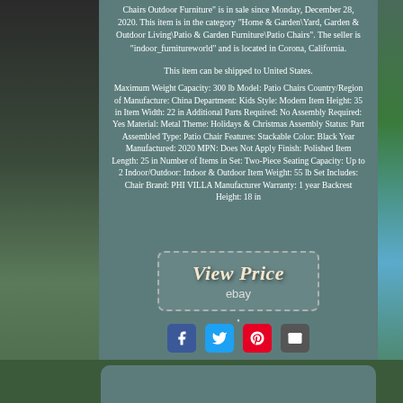Chairs Outdoor Furniture" is in sale since Monday, December 28, 2020. This item is in the category "Home & Garden\Yard, Garden & Outdoor Living\Patio & Garden Furniture\Patio Chairs". The seller is "indoor_furnitureworld" and is located in Corona, California.
This item can be shipped to United States.
Maximum Weight Capacity: 300 lb Model: Patio Chairs Country/Region of Manufacture: China Department: Kids Style: Modern Item Height: 35 in Item Width: 22 in Additional Parts Required: No Assembly Required: Yes Material: Metal Theme: Holidays & Christmas Assembly Status: Part Assembled Type: Patio Chair Features: Stackable Color: Black Year Manufactured: 2020 MPN: Does Not Apply Finish: Polished Item Length: 25 in Number of Items in Set: Two-Piece Seating Capacity: Up to 2 Indoor/Outdoor: Indoor & Outdoor Item Weight: 55 lb Set Includes: Chair Brand: PHI VILLA Manufacturer Warranty: 1 year Backrest Height: 18 in
[Figure (other): View Price button with dashed border and eBay branding]
[Figure (other): Social media sharing icons: Facebook, Twitter, Pinterest, Email]